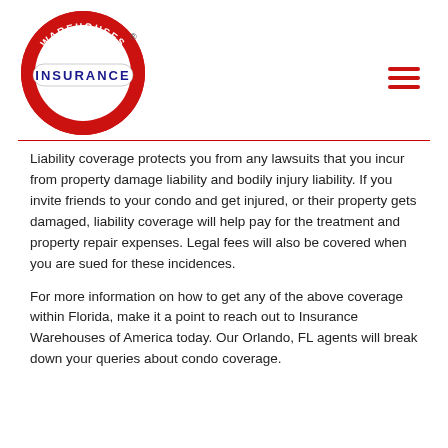[Figure (logo): Warehouses of America Insurance circular logo with red ring, white center, text reading WAREHOUSES OF AMERICA around the ring, and INSURANCE in blue in the center on a white oval. Registered trademark symbol visible.]
Liability coverage protects you from any lawsuits that you incur from property damage liability and bodily injury liability. If you invite friends to your condo and get injured, or their property gets damaged, liability coverage will help pay for the treatment and property repair expenses. Legal fees will also be covered when you are sued for these incidences.
For more information on how to get any of the above coverage within Florida, make it a point to reach out to Insurance Warehouses of America today. Our Orlando, FL agents will break down your queries about condo coverage.